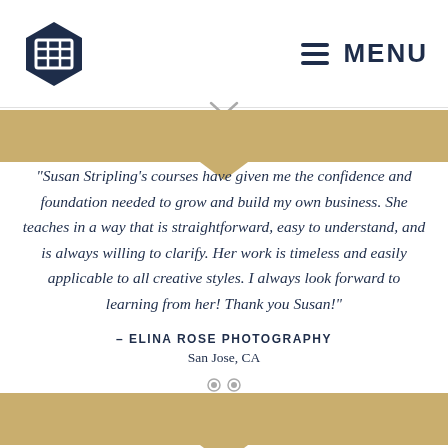[Figure (logo): Hexagon logo with grid/frame icon in white on dark navy background, top left corner]
MENU
“Susan Stripling’s courses have given me the confidence and foundation needed to grow and build my own business. She teaches in a way that is straightforward, easy to understand, and is always willing to clarify. Her work is timeless and easily applicable to all creative styles. I always look forward to learning from her! Thank you Susan!”
– ELINA ROSE PHOTOGRAPHY
San Jose, CA
“Susan really motivates me to be unabashedly unashamed to